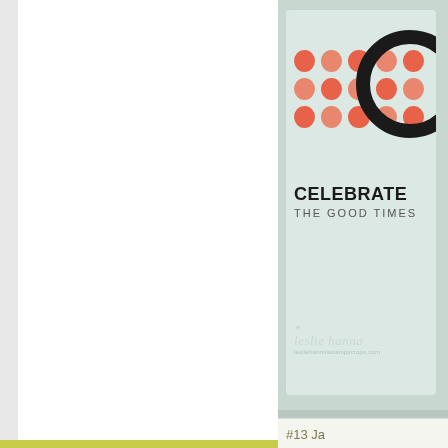[Figure (photo): A celebration greeting card with coral/orange polka dots in a grid pattern, a large black circle (partially cut off), bold text reading 'CELEBRATE THE GOOD TIMES', and a 'leslie hanna' watermark signature at the bottom. The card has a light mint/seafoam green border and sits against a light blue-gray background.]
#13 Ja